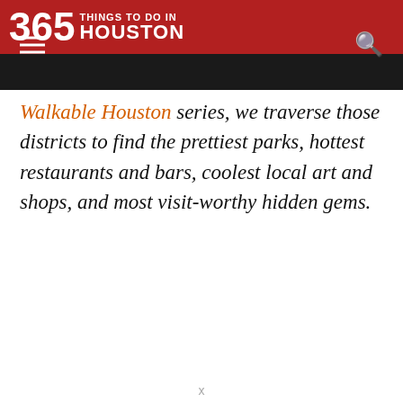365 THINGS TO DO IN HOUSTON
Walkable Houston series, we traverse those districts to find the prettiest parks, hottest restaurants and bars, coolest local art and shops, and most visit-worthy hidden gems.